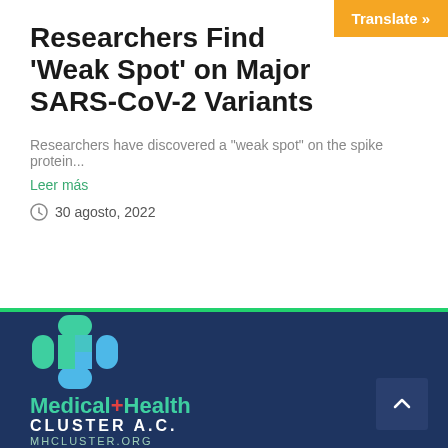Translate »
Researchers Find 'Weak Spot' on Major SARS-CoV-2 Variants
Researchers have discovered a "weak spot" on the spike protein...
Leer más
30 agosto, 2022
[Figure (logo): Medical+Health Cluster A.C. logo with teal cross icon and text MHCLUSTER.ORG on dark navy background]